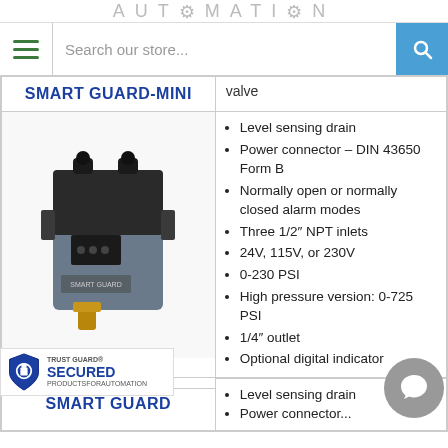AUTOMATION
Search our store...
| Product | Specifications |
| --- | --- |
| SMART GUARD-MINI | valve |
| [product image] | Level sensing drain
Power connector – DIN 43650 Form B
Normally open or normally closed alarm modes
Three 1/2" NPT inlets
24V, 115V, or 230V
0-230 PSI
High pressure version: 0-725 PSI
1/4" outlet
Optional digital indicator |
| SMART GUARD | Level sensing drain
Power connector... |